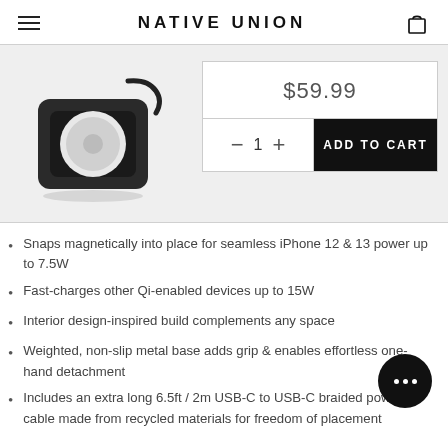NATIVE UNION
[Figure (photo): Dark square wireless MagSafe-style charger with white circular charging pad and attached black cable, on light grey background]
$59.99
− 1 + ADD TO CART
Snaps magnetically into place for seamless iPhone 12 & 13 power up to 7.5W
Fast-charges other Qi-enabled devices up to 15W
Interior design-inspired build complements any space
Weighted, non-slip metal base adds grip & enables effortless one-hand detachment
Includes an extra long 6.5ft / 2m USB-C to USB-C braided power cable made from recycled materials for freedom of placement